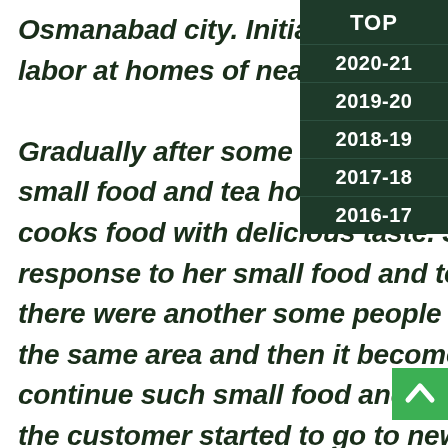Osmanabad city. Initially she started to work as domestic labor at homes of nearest surrounding rich communities. Gradually after some days Prerana's mother decided to start a small food and tea hotel near to hospital area, because she cooks food with delicious taste. Some days it was good response to her small food and tea hotel but unfortunately there were another some people who started new big hotel in the same area and then it become quite challenging to continue such small food and tea hotel, because now most of the customer started to go to new big hotel. Gradually such things badly
[Figure (other): Dark green dropdown navigation menu showing year links: TOP, 2020-21, 2019-20, 2018-19, 2017-18, 2016-17]
[Figure (other): Green upward arrow button (scroll to top)]